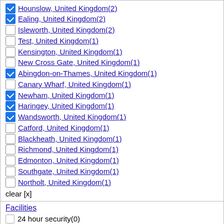Hounslow, United Kingdom(2) [checked]
Ealing, United Kingdom(2) [checked]
Isleworth, United Kingdom(2) [unchecked]
Test, United Kingdom(1) [unchecked]
Kensington, United Kingdom(1) [unchecked]
New Cross Gate, United Kingdom(1) [unchecked]
Abingdon-on-Thames, United Kingdom(1) [checked]
Canary Wharf, United Kingdom(1) [unchecked]
Newham, United Kingdom(1) [checked]
Haringey, United Kingdom(1) [checked]
Wandsworth, United Kingdom(1) [checked]
Catford, United Kingdom(1) [unchecked]
Blackheath, United Kingdom(1) [unchecked]
Richmond, United Kingdom(1) [unchecked]
Edmonton, United Kingdom(1) [unchecked]
Southgate, United Kingdom(1) [unchecked]
Northolt, United Kingdom(1) [unchecked]
clear [x]
Facilities
24 hour security(0) [unchecked]
24h reception(0) [unchecked]
24h room service(0) [unchecked]